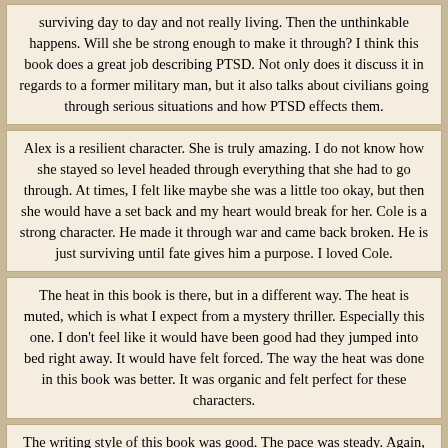surviving day to day and not really living. Then the unthinkable happens. Will she be strong enough to make it through? I think this book does a great job describing PTSD. Not only does it discuss it in regards to a former military man, but it also talks about civilians going through serious situations and how PTSD effects them.
Alex is a resilient character. She is truly amazing. I do not know how she stayed so level headed through everything that she had to go through. At times, I felt like maybe she was a little too okay, but then she would have a set back and my heart would break for her. Cole is a strong character. He made it through war and came back broken. He is just surviving until fate gives him a purpose. I loved Cole.
The heat in this book is there, but in a different way. The heat is muted, which is what I expect from a mystery thriller. Especially this one. I don’t feel like it would have been good had they jumped into bed right away. It would have felt forced. The way the heat was done in this book was better. It was organic and felt perfect for these characters.
The writing style of this book was good. The pace was steady. Again, I feel the author was a little wordy and that the book went on a bit too long, but I liked the book. This book actually gave me nightmares. That is how well the book was written. I was able to feel what the characters felt. I will say that this author was rough on poor Alex. She just couldn’t get a break.
Overall, I liked this book. It kept me on the edge of my seat. I didn’t put it down until I read the very last word. I hope that we get to see more of this couple in future books because I felt the book ended kind of suddenly. I would like to feel like their story is more resolved. I would